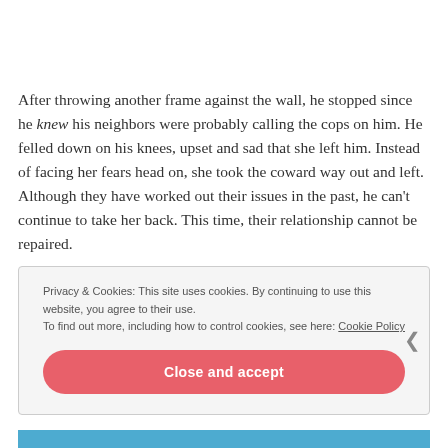After throwing another frame against the wall, he stopped since he knew his neighbors were probably calling the cops on him. He felled down on his knees, upset and sad that she left him. Instead of facing her fears head on, she took the coward way out and left. Although they have worked out their issues in the past, he can't continue to take her back. This time, their relationship cannot be repaired.
Privacy & Cookies: This site uses cookies. By continuing to use this website, you agree to their use. To find out more, including how to control cookies, see here: Cookie Policy
Close and accept